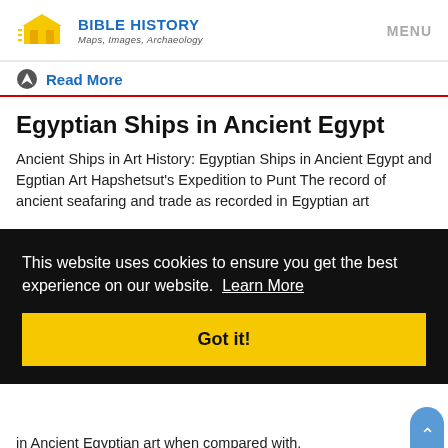BIBLE HISTORY Maps, Images, Archaeology — MENU
Read More
Egyptian Ships in Ancient Egypt
Ancient Ships in Art History: Egyptian Ships in Ancient Egypt and Egptian Art Hapshetsut's Expedition to Punt The record of ancient seafaring and trade as recorded in Egyptian art
This website uses cookies to ensure you get the best experience on our website. Learn More
Got it!
in Ancient Egyptian art when compared with, Queen Expedition of Sunrise Queen Elizabeth of